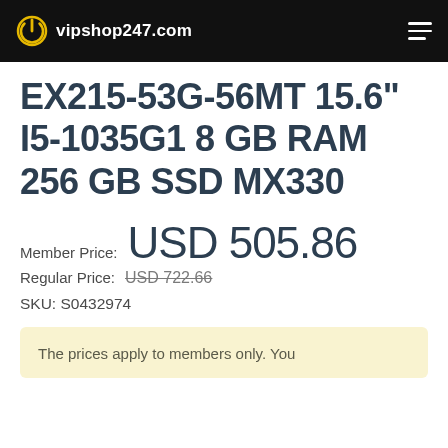vipshop247.com
EX215-53G-56MT 15.6" I5-1035G1 8 GB RAM 256 GB SSD MX330
Member Price: USD 505.86
Regular Price: USD 722.66
SKU: S0432974
The prices apply to members only. You